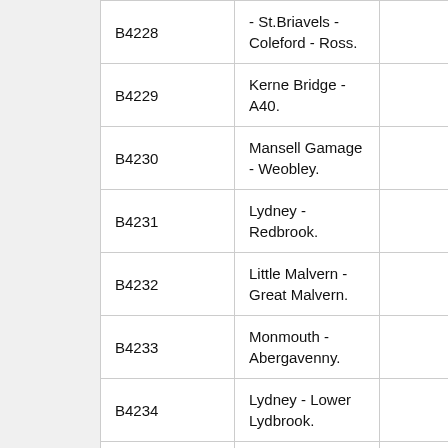| Road Number | Description |  |
| --- | --- | --- |
| B4228 | - St.Briavels - Coleford - Ross. |  |
| B4229 | Kerne Bridge - A40. |  |
| B4230 | Mansell Gamage - Weobley. |  |
| B4231 | Lydney - Redbrook. |  |
| B4232 | Little Malvern - Great Malvern. |  |
| B4233 | Monmouth - Abergavenny. |  |
| B4234 | Lydney - Lower Lydbrook. |  |
| B4235 | Chepstow - Usk. |  |
| B4236 | Royal Oak - Caeleon - Llanfrechfa Grange. |  |
| B4237 | Maindee - Newport Docks. |  |
| B4238 | Newport (Cwmcarn) - |  |